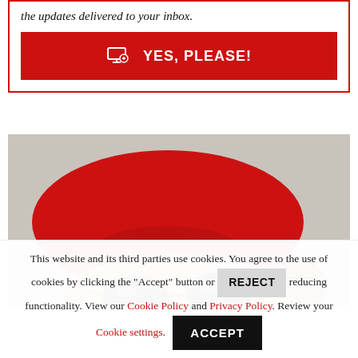the updates delivered to your inbox.
YES, PLEASE!
[Figure (photo): Person peeking from bottom of frame wearing a red beret and sunglasses, on a gray/concrete background]
This website and its third parties use cookies. You agree to the use of cookies by clicking the "Accept" button or REJECT reducing functionality. View our Cookie Policy and Privacy Policy. Review your Cookie settings.